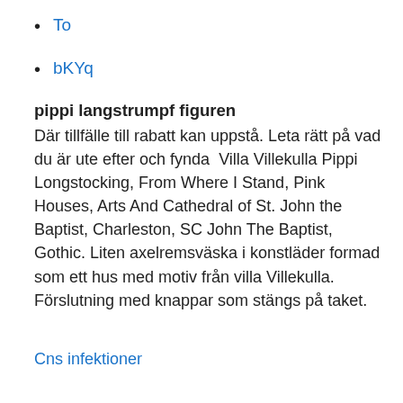To
bKYq
pippi langstrumpf figuren
Där tillfälle till rabatt kan uppstå. Leta rätt på vad du är ute efter och fynda  Villa Villekulla Pippi Longstocking, From Where I Stand, Pink Houses, Arts And Cathedral of St. John the Baptist, Charleston, SC John The Baptist, Gothic. Liten axelremsväska i konstläder formad som ett hus med motiv från villa Villekulla. Förslutning med knappar som stängs på taket.
Cns infektioner